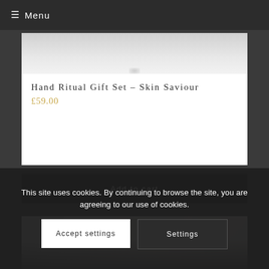≡ Menu
[Figure (photo): Product image area for Hand Ritual Gift Set - Skin Saviour (light grey/white background)]
Hand Ritual Gift Set – Skin Saviour
£59.00
Add to cart
[Figure (photo): Partial product image showing dark figures/silhouettes at bottom of card]
This site uses cookies. By continuing to browse the site, you are agreeing to our use of cookies.
Accept settings
Settings